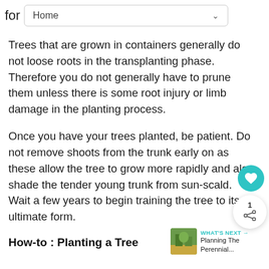for Home
Trees that are grown in containers generally do not loose roots in the transplanting phase. Therefore you do not generally have to prune them unless there is some root injury or limb damage in the planting process.
Once you have your trees planted, be patient. Do not remove shoots from the trunk early on as these allow the tree to grow more rapidly and also shade the tender young trunk from sun-scald. Wait a few years to begin training the tree to its ultimate form.
How-to : Planting a Tree